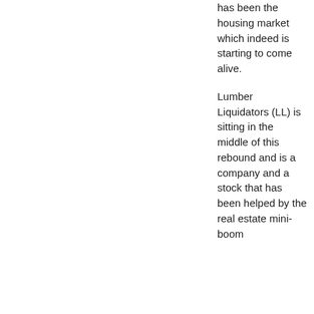has been the housing market which indeed is starting to come alive.

Lumber Liquidators (LL) is sitting in the middle of this rebound and is a company and a stock that has been helped by the real estate mini-boom